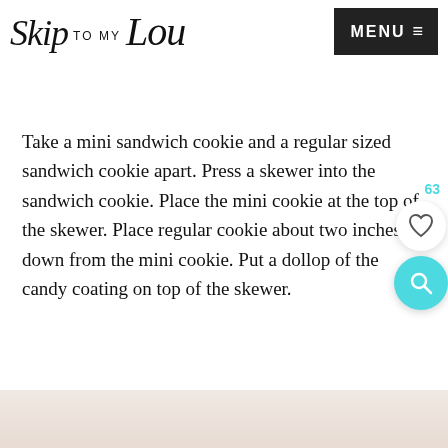Skip to my Lou | MENU
Take a mini sandwich cookie and a regular sized sandwich cookie apart. Press a skewer into the sandwich cookie. Place the mini cookie at the top of the skewer. Place regular cookie about two inches down from the mini cookie. Put a dollop of the candy coating on top of the skewer.
[Figure (photo): Bottom portion of a food/recipe photo showing a light pinkish-white blurred background, partially visible at the bottom of the page.]